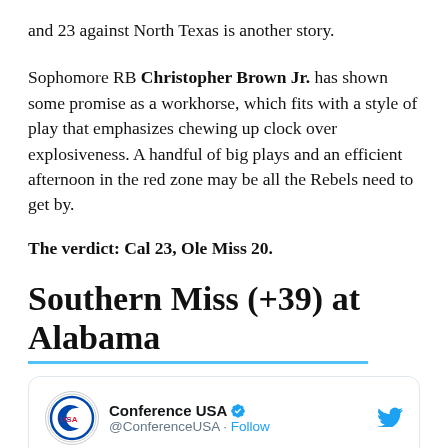and 23 against North Texas is another story.
Sophomore RB Christopher Brown Jr. has shown some promise as a workhorse, which fits with a style of play that emphasizes chewing up clock over explosiveness. A handful of big plays and an efficient afternoon in the red zone may be all the Rebels need to get by.
The verdict: Cal 23, Ole Miss 20.
Southern Miss (+39) at Alabama
[Figure (screenshot): Tweet from Conference USA (@ConferenceUSA) with blue verified checkmark and Follow link. Text reads: Jaylond Adams returns the kickoff [1][0]]